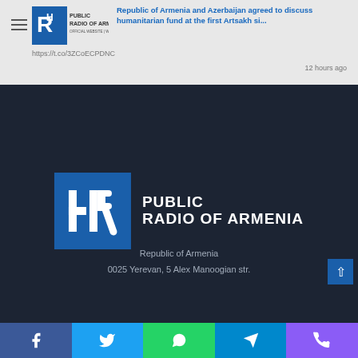Public Radio of Armenia - Republic of Artsakh and Azerbaijan agreed to discuss humanitarian fund at the first Artsakh si... https://t.co/3ZCoECPDNC  12 hours ago
[Figure (logo): Public Radio of Armenia logo - large centered on dark background]
Republic of Armenia
0025 Yerevan, 5 Alex Manoogian str.